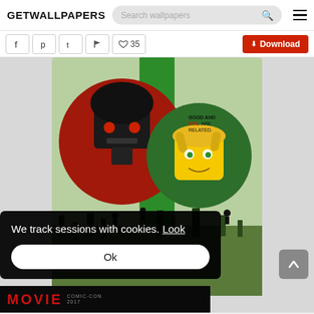GETWALLPAPERS — Search wallpapers
Social share icons, like (35), Download button
[Figure (photo): Lego Ninjago Movie poster showing two LEGO characters in circular frames — a dark samurai villain and a blonde green-eyed hero — with text 'GOOD AND EVIL ARE RELATED.' and battle scene below]
We track sessions with cookies. Look
Ok
MOVIE COMIC CON 2017